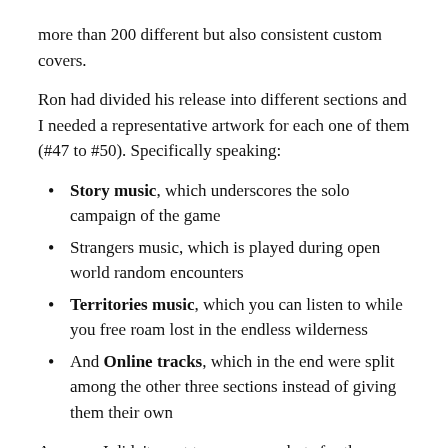more than 200 different but also consistent custom covers.
Ron had divided his release into different sections and I needed a representative artwork for each one of them (#47 to #50). Specifically speaking:
Story music, which underscores the solo campaign of the game
Strangers music, which is played during open world random encounters
Territories music, which you can listen to while you free roam lost in the endless wilderness
And Online tracks, which in the end were split among the other three sections instead of giving them their own
Anyway, I didn't want to use screenshots for these main covers, so I had to chop and reassemble official Rockstar